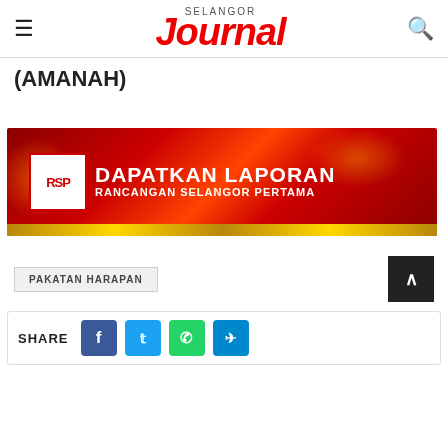SELANGOR JOURNAL
(AMANAH)
[Figure (photo): Advertisement banner for Rancangan Selangor Pertama (RSP) showing red dramatic background with text 'DAPATKAN LAPORAN RANCANGAN SELANGOR PERTAMA' and RSP logo on left]
PAKATAN HARAPAN
SHARE